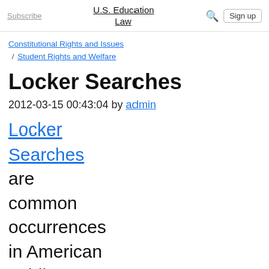Subscribe | U.S. Education Law | Sign up
Constitutional Rights and Issues / Student Rights and Welfare
Locker Searches
2012-03-15 00:43:04 by admin
Locker Searches are common occurrences in American public schools